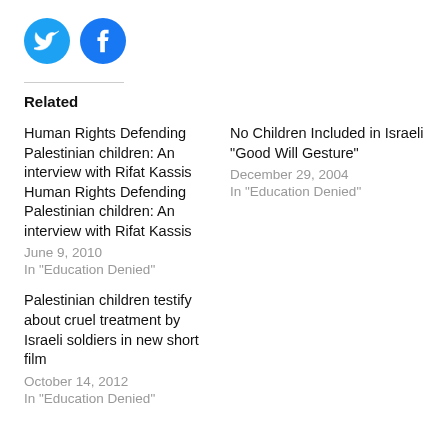[Figure (logo): Twitter and Facebook social sharing icon circles in blue]
Related
Human Rights Defending Palestinian children: An interview with Rifat Kassis Human Rights Defending Palestinian children: An interview with Rifat Kassis
June 9, 2010
In "Education Denied"
No Children Included in Israeli "Good Will Gesture"
December 29, 2004
In "Education Denied"
Palestinian children testify about cruel treatment by Israeli soldiers in new short film
October 14, 2012
In "Education Denied"